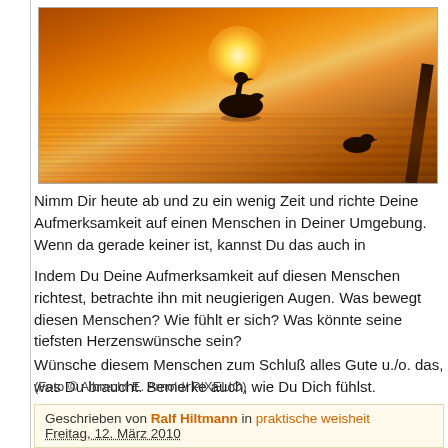[Figure (photo): Sunset on a lake with a swan silhouette in the center, a duck silhouette on the right, water reflections of golden/orange light, and reed stalks on the right edge.]
Nimm Dir heute ab und zu ein wenig Zeit und richte Deine Aufmerksamkeit auf einen Menschen in Deiner Umgebung. Wenn da gerade keiner ist, kannst Du das auch in
Indem Du Deine Aufmerksamkeit auf diesen Menschen richtest, betrachte ihn mit neugierigen Augen. Was bewegt diesen Menschen? Wie fühlt er sich? Was könnte seine tiefsten Herzenswünsche sein?
Wünsche diesem Menschen zum Schluß alles Gute u./o. das, was Du braucht. Bemerke auch, wie Du Dich fühlst.
(Foto © Albrecht E. Arnold/ PIXELIO)
Geschrieben von Ralf Hiltmann in praktische weisheit
Freitag, 12. März 2010